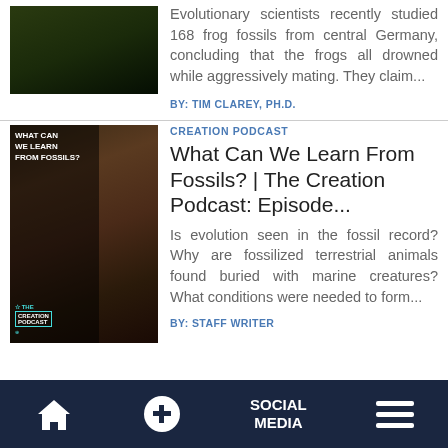[Figure (photo): Dark nature/animal photo, likely a frog on a branch]
Evolutionary scientists recently studied 168 frog fossils from central Germany, concluding that the frogs all drowned while aggressively mating. They claim...
BY: TIM CLAREY, PH.D.
CREATION PODCAST
What Can We Learn From Fossils? | The Creation Podcast: Episode...
[Figure (photo): The Creation Podcast thumbnail showing a man gesturing, with text overlay: WHAT CAN WE LEARN FROM FOSSILS? THE CREATION PODCAST]
Is evolution seen in the fossil record? Why are fossilized terrestrial animals found buried with marine creatures? What conditions were needed to form...
BY: STAFF WRITER
Home | + | SOCIAL MEDIA | Menu